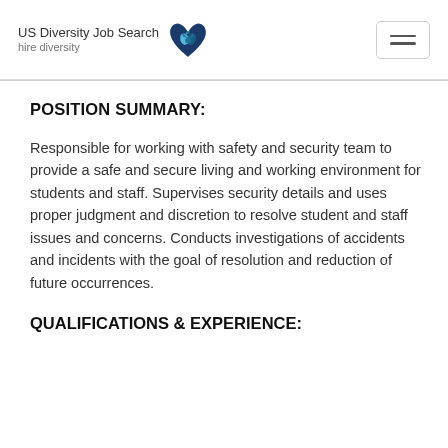US Diversity Job Search — hire diversity
POSITION SUMMARY:
Responsible for working with safety and security team to provide a safe and secure living and working environment for students and staff. Supervises security details and uses proper judgment and discretion to resolve student and staff issues and concerns. Conducts investigations of accidents and incidents with the goal of resolution and reduction of future occurrences.
QUALIFICATIONS & EXPERIENCE: